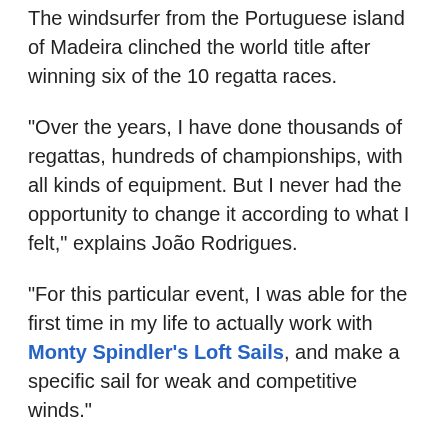The windsurfer from the Portuguese island of Madeira clinched the world title after winning six of the 10 regatta races.
"Over the years, I have done thousands of regattas, hundreds of championships, with all kinds of equipment. But I never had the opportunity to change it according to what I felt," explains João Rodrigues.
"For this particular event, I was able for the first time in my life to actually work with Monty Spindler's Loft Sails, and make a specific sail for weak and competitive winds."
"In the past year, Monty was modifying the original version according to the feedback that Curro Manchon and I gave him until we came to this version that I used in Blanes. The work resulted in a high performance, stable, balanced, light,